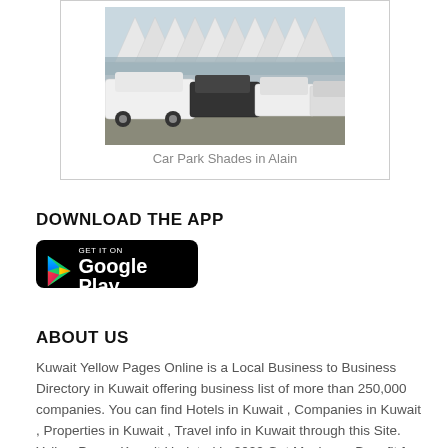[Figure (photo): Photograph of a car park with shade structures (white tent-like canopies) over rows of cars parked in a sunny outdoor lot]
Car Park Shades in Alain
DOWNLOAD THE APP
[Figure (logo): Google Play Store badge: GET IT ON Google Play, black rounded rectangle with Play Store logo]
ABOUT US
Kuwait Yellow Pages Online is a Local Business to Business Directory in Kuwait offering business list of more than 250,000 companies. You can find Hotels in Kuwait , Companies in Kuwait , Properties in Kuwait , Travel info in Kuwait through this Site. Yellow Pages Kuwait Updated in 2022 Get Maximum Benefit for your